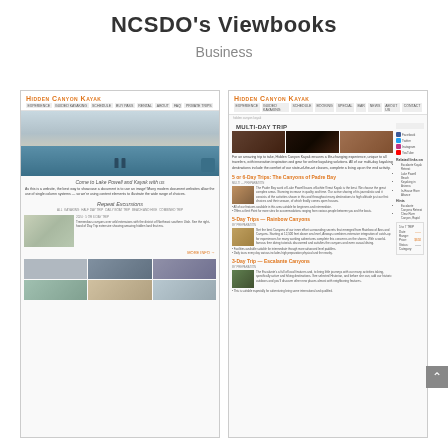NCSDO's Viewbooks
Business
[Figure (screenshot): Screenshot of Hidden Canyon Kayak website left page showing hero image of Lake Powell with kayakers, tagline 'Come to Lake Powell and Kayak with us', Repeat Excursions section, content block with landscape photo and text, and a grid of activity photos at bottom]
[Figure (screenshot): Screenshot of Hidden Canyon Kayak website right page showing Multi-Day Trip section with three photos (cave, fire, canyon), descriptive text, Trip sections including '5 or 6-Day Trips: The Canyons of Padre Bay', '5-Day Trips - Rainbow Canyons', and '3-Day Trips - Escalante Canyons' with accompanying images and text, plus sidebar with search, social media links (Facebook, Twitter, Instagram, YouTube) and sidebar widgets]